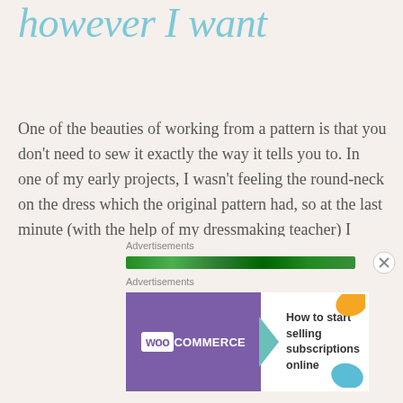however I want
One of the beauties of working from a pattern is that you don't need to sew it exactly the way it tells you to. In one of my early projects, I wasn't feeling the round-neck on the dress which the original pattern had, so at the last minute (with the help of my dressmaking teacher) I changed it to a V-neck. You can also change the fabric and add your own embellishments to the finished garment.
[Figure (other): Advertisements banner with WooCommerce ad showing 'How to start selling subscriptions online']